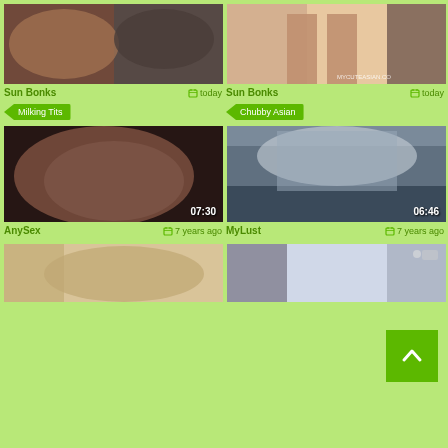[Figure (photo): Video thumbnail top-left, close-up scene]
Sun Bonks
today
Milking Tits
[Figure (photo): Video thumbnail top-right, woman standing, mycuteasian.co watermark]
Sun Bonks
today
Chubby Asian
[Figure (photo): Video thumbnail mid-left, woman close-up, duration 07:30]
AnySex
7 years ago
[Figure (photo): Video thumbnail mid-right, blurred close-up, duration 06:46]
MyLust
7 years ago
[Figure (photo): Video thumbnail bottom-left, partially visible]
[Figure (photo): Video thumbnail bottom-right, partially visible]